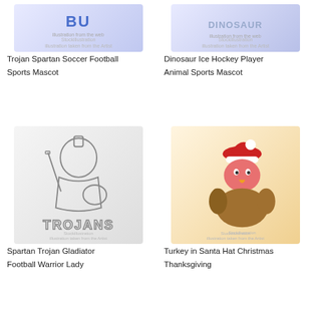[Figure (illustration): Trojan Spartan Soccer Football Sports Mascot illustration with blue text logo]
Trojan Spartan Soccer Football Sports Mascot
[Figure (illustration): Dinosaur Ice Hockey Player Animal Sports Mascot illustration with blue/grey text]
Dinosaur Ice Hockey Player Animal Sports Mascot
[Figure (illustration): Spartan Trojan Gladiator Football Warrior Lady black and white line art with TROJANS text]
Spartan Trojan Gladiator Football Warrior Lady
[Figure (illustration): Turkey in Santa Hat Christmas Thanksgiving cartoon character giving thumbs up]
Turkey in Santa Hat Christmas Thanksgiving